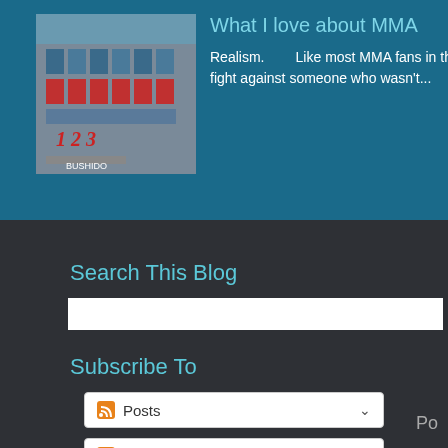What I love about MMA
Realism.        Like most MMA fans in the early days, I wanted to see if martial arts work in a real fight against someone who wasn't...
Search This Blog
Subscribe To
Posts
All Comments
Po